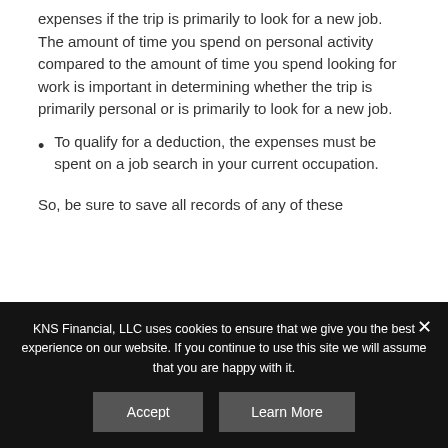expenses if the trip is primarily to look for a new job. The amount of time you spend on personal activity compared to the amount of time you spend looking for work is important in determining whether the trip is primarily personal or is primarily to look for a new job.
To qualify for a deduction, the expenses must be spent on a job search in your current occupation.
So, be sure to save all records of any of these
KNS Financial, LLC uses cookies to ensure that we give you the best experience on our website. If you continue to use this site we will assume that you are happy with it.